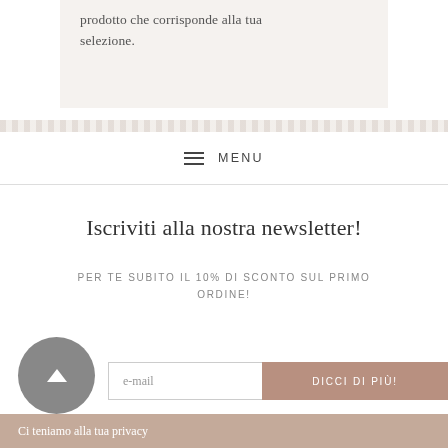prodotto che corrisponde alla tua selezione.
MENU
Iscriviti alla nostra newsletter!
PER TE SUBITO IL 10% DI SCONTO SUL PRIMO ORDINE!
e-mail
DICCI DI PIÙ!
Ci teniamo alla tua privacy